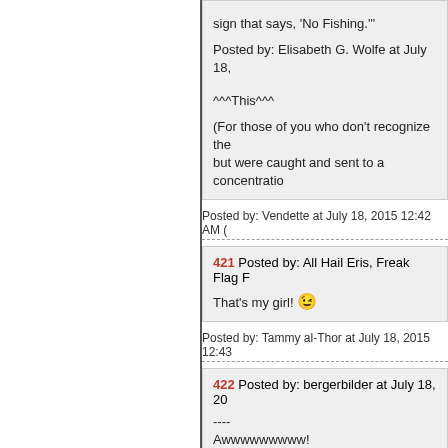sign that says, 'No Fishing.'"
Posted by: Elisabeth G. Wolfe at July 18,
^^^This^^^
(For those of you who don't recognize the but were caught and sent to a concentratio
Posted by: Vendette at July 18, 2015 12:42 AM (
421 Posted by: All Hail Eris, Freak Flag F
That's my girl! 😉
Posted by: Tammy al-Thor at July 18, 2015 12:43
422 Posted by: bergerbilder at July 18, 20
----
Awwwwwwwww!
Posted by: All Hail Eris, Freak Flag Flyin' at July